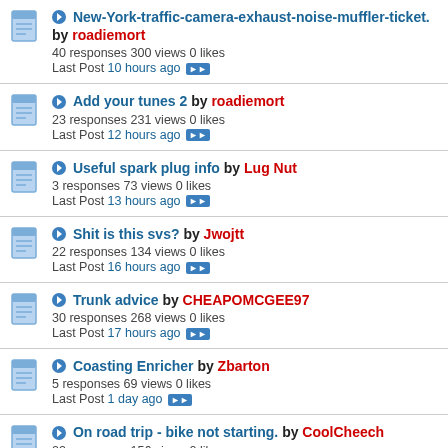New-York-traffic-camera-exhaust-noise-muffler-ticket. by roadiemort
40 responses 300 views 0 likes
Last Post 10 hours ago
Add your tunes 2 by roadiemort
23 responses 231 views 0 likes
Last Post 12 hours ago
Useful spark plug info by Lug Nut
3 responses 73 views 0 likes
Last Post 13 hours ago
Shit is this svs? by Jwojtt
22 responses 134 views 0 likes
Last Post 16 hours ago
Trunk advice by CHEAPOMCGEE97
30 responses 268 views 0 likes
Last Post 17 hours ago
Coasting Enricher by Zbarton
5 responses 69 views 0 likes
Last Post 1 day ago
On road trip - bike not starting. by CoolCheech
22 responses 156 views 0 likes